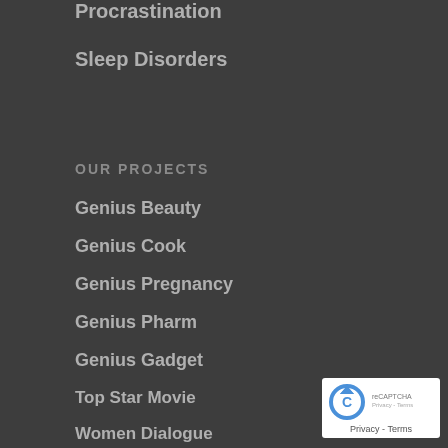Procrastination
Sleep Disorders
OUR PROJECTS
Genius Beauty
Genius Cook
Genius Pregnancy
Genius Pharm
Genius Gadget
Top Star Movie
Women Dialogue
[Figure (logo): reCAPTCHA badge with circular arrow icon and Privacy - Terms text]